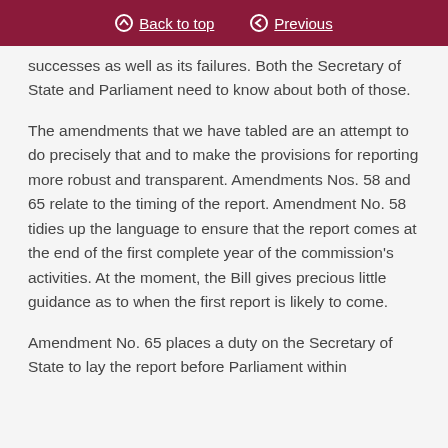Back to top | Previous
successes as well as its failures. Both the Secretary of State and Parliament need to know about both of those.
The amendments that we have tabled are an attempt to do precisely that and to make the provisions for reporting more robust and transparent. Amendments Nos. 58 and 65 relate to the timing of the report. Amendment No. 58 tidies up the language to ensure that the report comes at the end of the first complete year of the commission's activities. At the moment, the Bill gives precious little guidance as to when the first report is likely to come.
Amendment No. 65 places a duty on the Secretary of State to lay the report before Parliament within